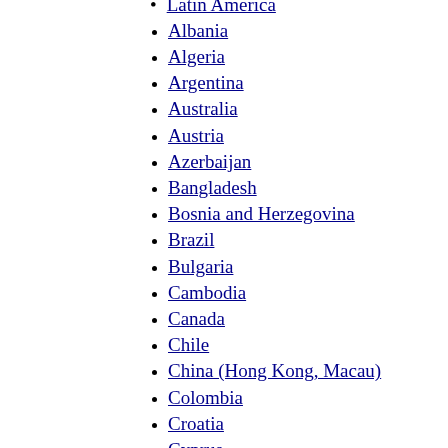Latin America
Albania
Algeria
Argentina
Australia
Austria
Azerbaijan
Bangladesh
Bosnia and Herzegovina
Brazil
Bulgaria
Cambodia
Canada
Chile
China (Hong Kong, Macau)
Colombia
Croatia
Cyprus
Czech Republic
Denmark
Ecuador
Estonia
Finland
France
Georgia